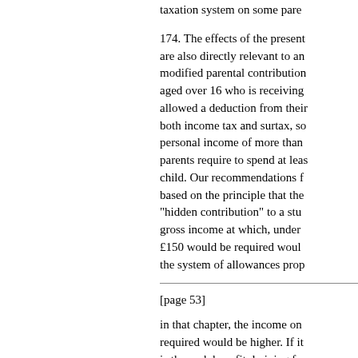taxation system on some pare
174. The effects of the present are also directly relevant to an modified parental contribution aged over 16 who is receiving allowed a deduction from their both income tax and surtax, so personal income of more than parents require to spend at leas child. Our recommendations f based on the principle that the "hidden contribution" to a stu gross income at which, under £150 would be required woul the system of allowances prop
[page 53]
in that chapter, the income on required would be higher. If it is the cash benefit deriving fro amount of the allowance itself lowest level of income at whic